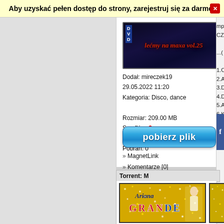Aby uzyskać pełen dostęp do strony, zarejestruj się za darmo!
[Figure (photo): DVD cover thumbnail for 'Lećmy na maxa vol.25' torrent]
Dodał: mireczek19
29.05.2022 11:20
Kategoria: Disco, dance

Rozmiar: 209.00 MB
Seed'ów: 0
Leecher'ów: 0
Pobrań: 0
pobierz plik
» MagnetLink
» Komentarze [0]
mp3@1...
CZAS:0...

...( Track

1.Clayde
2.Ace of
3.Deorrc
4.Deorrc
5.Adam
6.KSHM

[Zobasz
Torrent: M
[Figure (photo): Ariana Grande album/collection thumbnail with gold glitter background and figure of artist]